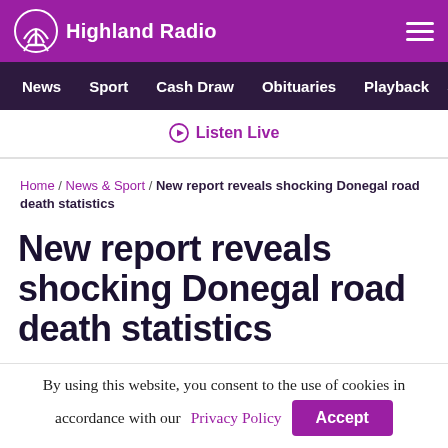Highland Radio
News / Sport / Cash Draw / Obituaries / Playback / S
Listen Live
Home / News & Sport / New report reveals shocking Donegal road death statistics
New report reveals shocking Donegal road death statistics
By using this website, you consent to the use of cookies in accordance with our Privacy Policy  Accept